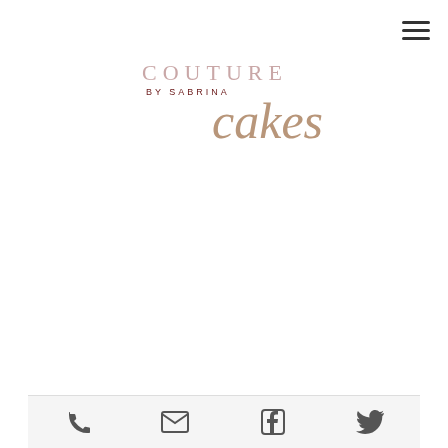[Figure (logo): Couture Cakes by Sabrina logo — 'COUTURE' in pink spaced caps, 'BY SABRINA' in small dark red caps, 'cakes' in large rose-gold italic script]
[Figure (screenshot): Social media profile page screenshot showing a green header banner with a Follow button and three-dot menu, a gray profile photo circle, the name 'Online poker crypto', a partially visible followers/following line, and a bottom icon bar with phone, email, Facebook, and Twitter icons]
Online poker crypto
0 Followers   0 Following